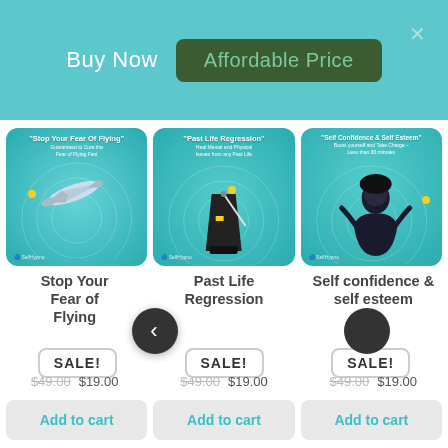Buy Now  Affordable Price
[Figure (photo): Stop Your Fear Of Flying product image with airplane on teal background]
[Figure (photo): Past Life Regression product image with metronome on teal background]
[Figure (photo): Self Confidence & Self Esteem product image with woman on teal background]
Stop Your Fear of Flying
Past Life Regression
Self confidence & self esteem
SALE!
SALE!
SALE!
$49.00  $19.00
$49.00  $19.00
$49.00  $19.00
Add to cart
Add to cart
Add to cart